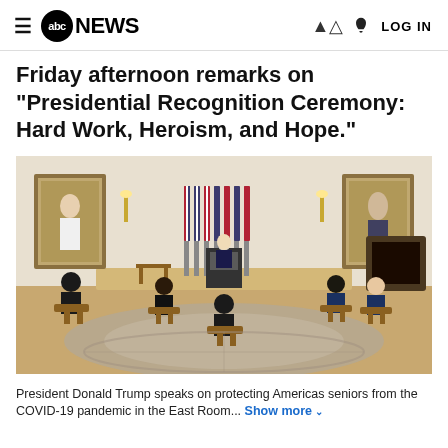abc NEWS | LOG IN
Friday afternoon remarks on "Presidential Recognition Ceremony: Hard Work, Heroism, and Hope."
[Figure (photo): President Donald Trump speaks at a podium in the East Room of the White House, flanked by American flags, with several attendees seated socially distanced in the room. Portraits hang on the walls.]
President Donald Trump speaks on protecting Americas seniors from the COVID-19 pandemic in the East Room... Show more